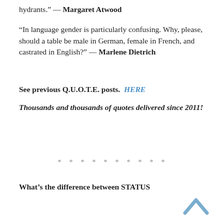hydrants.” — Margaret Atwood
“In language gender is particularly confusing. Why, please, should a table be male in German, female in French, and castrated in English?” — Marlene Dietrich
See previous Q.U.O.T.E. posts. HERE
Thousands and thousands of quotes delivered since 2011!
* * * * * * * * * *
What’s the difference between STATUS